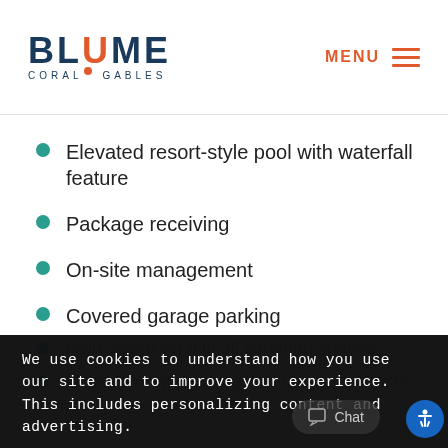BLUME CORAL GABLES — MENU
Elevated resort-style pool with waterfall feature
Package receiving
On-site management
Covered garage parking
High speed Wi-fi in all common spaces
In-Locker dry cleaning and laundry services
We use cookies to understand how you use our site and to improve your experience. This includes personalizing content and advertising.
By continuing to use our site, you accept our use of cookies, Privacy Policy, and Terms of Use.
Learn more
I accept